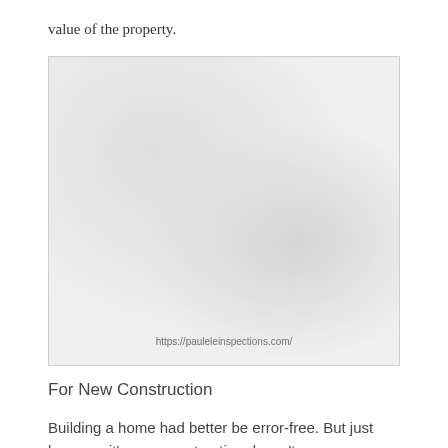value of the property.
[Figure (photo): A faded/watermarked photo, likely of a house or construction site, with URL https://pauleleinspections.com/ shown at the bottom.]
For New Construction
Building a home had better be error-free. But just because it’s new construction doesn’t